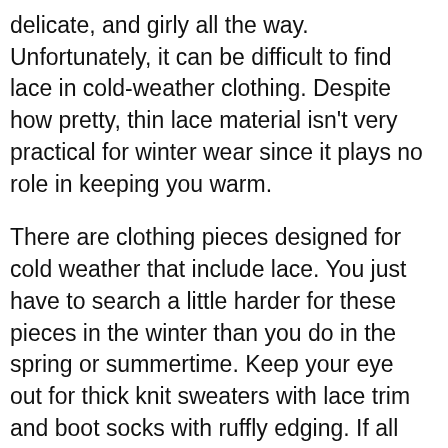delicate, and girly all the way. Unfortunately, it can be difficult to find lace in cold-weather clothing. Despite how pretty, thin lace material isn't very practical for winter wear since it plays no role in keeping you warm.
There are clothing pieces designed for cold weather that include lace. You just have to search a little harder for these pieces in the winter than you do in the spring or summertime. Keep your eye out for thick knit sweaters with lace trim and boot socks with ruffly edging. If all else fails, you can incorporate one of the lace pieces you already have into a cold-weather outfit; tuck your lace-trimmed camisole into high-waisted jeans and throw on boots and a thick cardigan on top to stay warm.